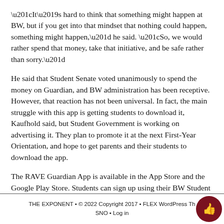“It’s hard to think that something might happen at BW, but if you get into that mindset that nothing could happen, something might happen,” he said. “So, we would rather spend that money, take that initiative, and be safe rather than sorry.”
He said that Student Senate voted unanimously to spend the money on Guardian, and BW administration has been receptive. However, that reaction has not been universal. In fact, the main struggle with this app is getting students to download it, Kaufhold said, but Student Government is working on advertising it. They plan to promote it at the next First-Year Orientation, and hope to get parents and their students to download the app.
The RAVE Guardian App is available in the App Store and the Google Play Store. Students can sign up using their BW Student email address.
THE EXPONENT • © 2022 Copyright 2017 • FLEX WordPress Th… SNO • Log in